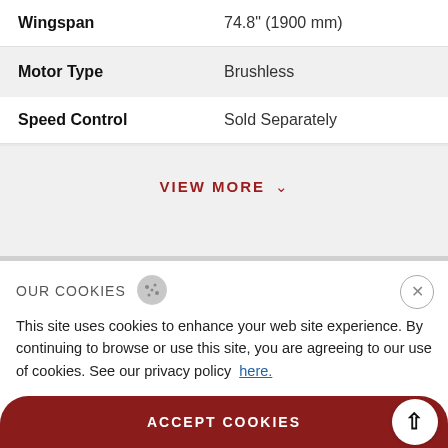| Specification | Value |
| --- | --- |
| Wingspan | 74.8" (1900 mm) |
| Motor Type | Brushless |
| Speed Control | Sold Separately |
VIEW MORE
OUR COOKIES
This site uses cookies to enhance your web site experience. By continuing to browse or use this site, you are agreeing to our use of cookies. See our privacy policy here.
ACCEPT COOKIES